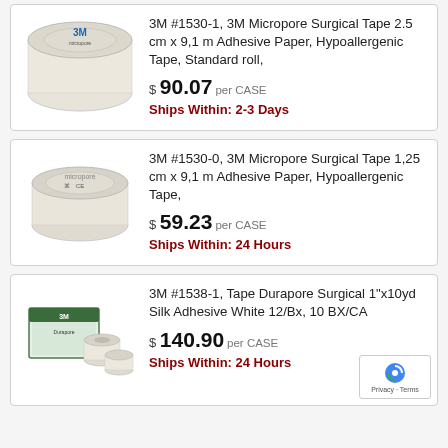[Figure (photo): 3M Micropore surgical tape roll, large white roll with blue 3M logo label]
3M #1530-1, 3M Micropore Surgical Tape 2.5 cm x 9,1 m Adhesive Paper, Hypoallergenic Tape, Standard roll,
$ 90.07 per CASE
Ships Within: 2-3 Days
[Figure (photo): 3M Micropore surgical tape roll, smaller white roll with blue CE marked label]
3M #1530-0, 3M Micropore Surgical Tape 1,25 cm x 9,1 m Adhesive Paper, Hypoallergenic Tape,
$ 59.23 per CASE
Ships Within: 24 Hours
[Figure (photo): 3M Durapore surgical tape box and rolls, green and white packaging]
3M #1538-1, Tape Durapore Surgical 1"x10yd Silk Adhesive White 12/Bx, 10 BX/CA
$ 140.90 per CASE
Ships Within: 24 Hours